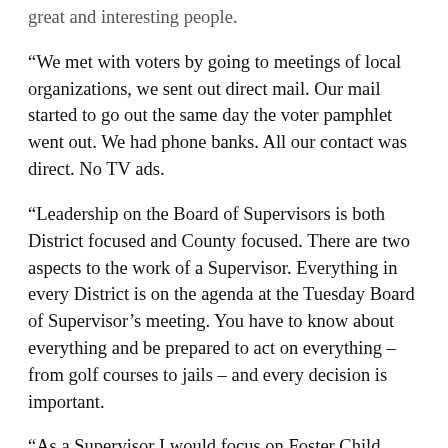great and interesting people.
“We met with voters by going to meetings of local organizations, we sent out direct mail. Our mail started to go out the same day the voter pamphlet went out. We had phone banks. All our contact was direct. No TV ads.
“Leadership on the Board of Supervisors is both District focused and County focused. There are two aspects to the work of a Supervisor. Everything in every District is on the agenda at the Tuesday Board of Supervisor’s meeting. You have to know about everything and be prepared to act on everything – from golf courses to jails – and every decision is important.
“As a Supervisor I would focus on Foster Child Care, Health Care for all, and improving transportation in the region.
“Foster children are not getting the care they need and deserve. There are recommendations from the Blue Ribbon Commission for large structural changes. Instead